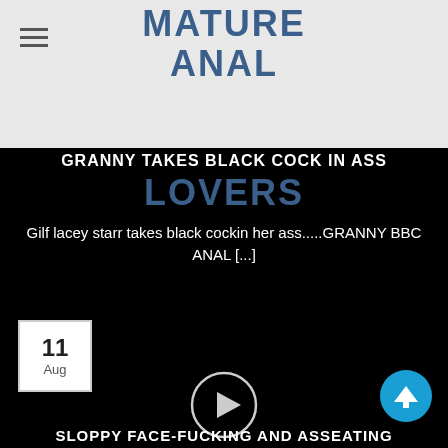MATURE ANAL LOVERS
GRANNY TAKES BLACK COCK IN ASS
Gilf lacey starr takes black cockin her ass.....GRANNY BBC ANAL [...]
11 Aug
[Figure (other): Video play button circle on black background]
[Figure (other): Scroll to top button, blue circle with upward arrow]
SLOPPY FACE-FUCKING AND ASSEATING